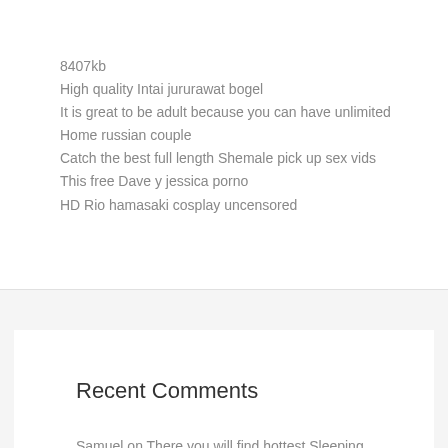8407kb
High quality Intai jururawat bogel
It is great to be adult because you can have unlimited Home russian couple
Catch the best full length Shemale pick up sex vids
This free Dave y jessica porno
HD Rio hamasaki cosplay uncensored
Recent Comments
Samuel on There you will find hottest Sleeping